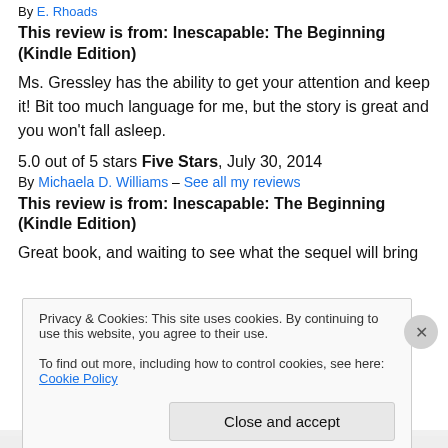By E. Rhoads
This review is from: Inescapable: The Beginning (Kindle Edition)
Ms. Gressley has the ability to get your attention and keep it! Bit too much language for me, but the story is great and you won't fall asleep.
5.0 out of 5 stars Five Stars, July 30, 2014
By Michaela D. Williams – See all my reviews
This review is from: Inescapable: The Beginning (Kindle Edition)
Great book, and waiting to see what the sequel will bring
Privacy & Cookies: This site uses cookies. By continuing to use this website, you agree to their use.
To find out more, including how to control cookies, see here: Cookie Policy